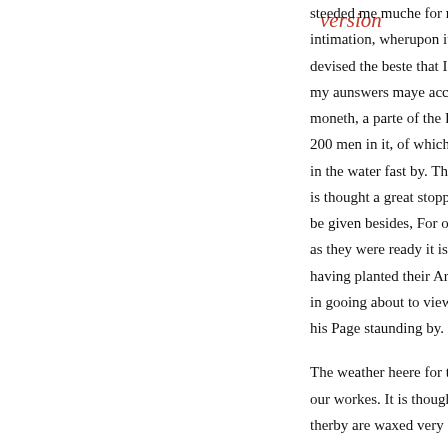version
steeded me muche for many respectes, if un- intimation, wherupon it hath stayed, or had s- devised the beste that I could to aunswear th- my aunswers maye accorde with her Majest- moneth, a parte of the Ravelin where our so- 200 men in it, of which there were very few in the water fast by. The Ravelin there- upo- is thought a great stoppe to the taking of the be given besides, For our approches, Galleri- as they were ready it is thought about 4 daye having planted their Artillerie, upon 9 or 10 in gooing about to view the workes was def- his Page staunding by.
The weather heere for this moneth hath bee- our workes. It is thought that otherwise befo- therby are waxed very deepe, soe as the Ene-
There is a speeche that 400 of Verdugoes So-